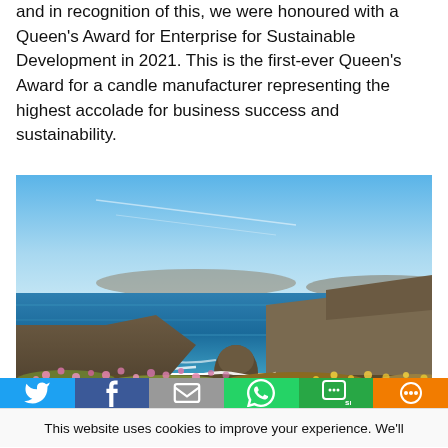and in recognition of this, we were honoured with a Queen's Award for Enterprise for Sustainable Development in 2021. This is the first-ever Queen's Award for a candle manufacturer representing the highest accolade for business success and sustainability.
[Figure (photo): Coastal landscape photograph showing rocky sea cliffs, turquoise ocean with waves, and pink wildflowers in the foreground under a bright blue sky – likely Cornwall, UK.]
This website uses cookies to improve your experience. We'll